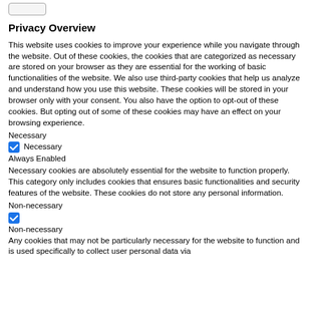[button placeholder]
Privacy Overview
This website uses cookies to improve your experience while you navigate through the website. Out of these cookies, the cookies that are categorized as necessary are stored on your browser as they are essential for the working of basic functionalities of the website. We also use third-party cookies that help us analyze and understand how you use this website. These cookies will be stored in your browser only with your consent. You also have the option to opt-out of these cookies. But opting out of some of these cookies may have an effect on your browsing experience.
Necessary
✅ Necessary
Always Enabled
Necessary cookies are absolutely essential for the website to function properly. This category only includes cookies that ensures basic functionalities and security features of the website. These cookies do not store any personal information.
Non-necessary
✅
Non-necessary
Any cookies that may not be particularly necessary for the website to function and is used specifically to collect user personal data via